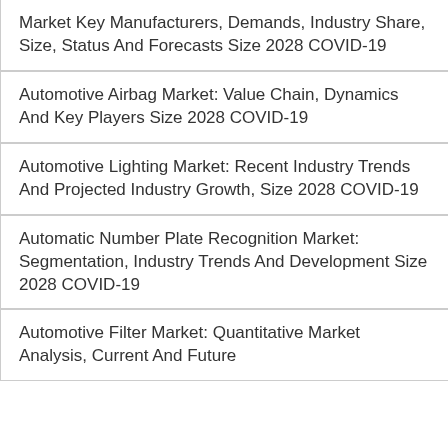Market Key Manufacturers, Demands, Industry Share, Size, Status And Forecasts Size 2028 COVID-19
Automotive Airbag Market: Value Chain, Dynamics And Key Players Size 2028 COVID-19
Automotive Lighting Market: Recent Industry Trends And Projected Industry Growth, Size 2028 COVID-19
Automatic Number Plate Recognition Market: Segmentation, Industry Trends And Development Size 2028 COVID-19
Automotive Filter Market: Quantitative Market Analysis, Current And Future